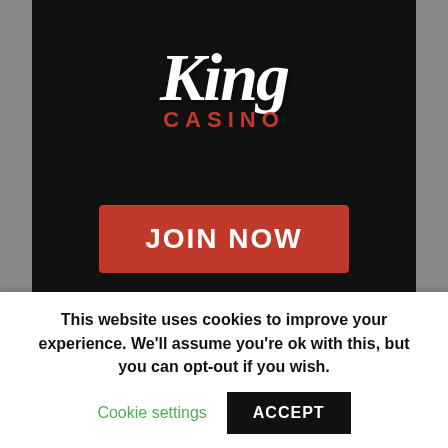[Figure (logo): King Casino logo with stylized 'King' text in white italic script and 'CASINO' in red bold letters on black background, with a red JOIN NOW button below]
Exciting Games on King Casino with its Casino Bonus.
[Figure (photo): Photo of a woman with long dark hair on a light grey background]
This website uses cookies to improve your experience. We'll assume you're ok with this, but you can opt-out if you wish.
Cookie settings   ACCEPT